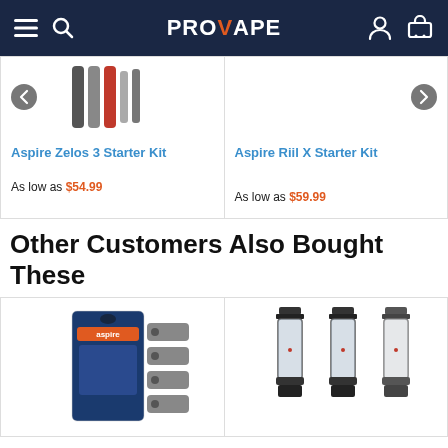PROVAPE navigation bar with menu, search, account, and cart icons
Aspire Zelos 3 Starter Kit
As low as $54.99
Aspire Riil X Starter Kit
As low as $59.99
Other Customers Also Bought These
[Figure (photo): Aspire coil replacement product in blue packaging with multiple coils visible]
[Figure (photo): Three vape tanks/atomizers in dark metallic finish side by side]